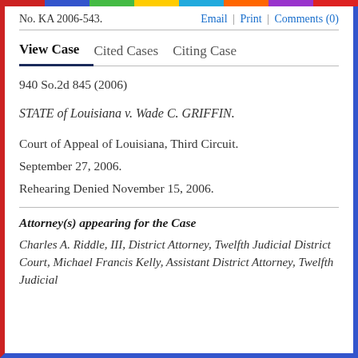No. KA 2006-543.    Email | Print | Comments (0)
View Case   Cited Cases   Citing Case
940 So.2d 845 (2006)
STATE of Louisiana v. Wade C. GRIFFIN.
Court of Appeal of Louisiana, Third Circuit.
September 27, 2006.
Rehearing Denied November 15, 2006.
Attorney(s) appearing for the Case
Charles A. Riddle, III, District Attorney, Twelfth Judicial District Court, Michael Francis Kelly, Assistant District Attorney, Twelfth Judicial